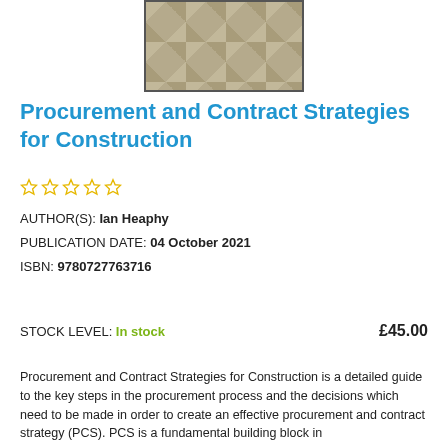[Figure (illustration): Book cover thumbnail showing a geometric polygon/faceted pattern in beige and tan tones with a thin dark border]
Procurement and Contract Strategies for Construction
[Figure (other): Five empty star rating icons in gold/yellow outline]
AUTHOR(S): Ian Heaphy
PUBLICATION DATE: 04 October 2021
ISBN: 9780727763716
STOCK LEVEL: In stock    £45.00
Procurement and Contract Strategies for Construction is a detailed guide to the key steps in the procurement process and the decisions which need to be made in order to create an effective procurement and contract strategy (PCS). PCS is a fundamental building block in